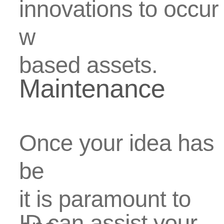These backed-up env... innovations to occur w... based assets.
Maintenance
Once your idea has be... it is paramount to ens... to operate as designe...
ID can assist your tea...